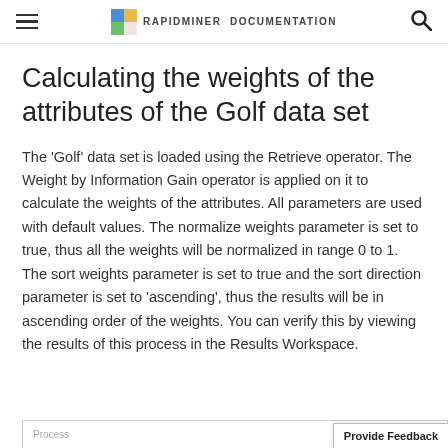RAPIDMINER DOCUMENTATION
Calculating the weights of the attributes of the Golf data set
The 'Golf' data set is loaded using the Retrieve operator. The Weight by Information Gain operator is applied on it to calculate the weights of the attributes. All parameters are used with default values. The normalize weights parameter is set to true, thus all the weights will be normalized in range 0 to 1. The sort weights parameter is set to true and the sort direction parameter is set to 'ascending', thus the results will be in ascending order of the weights. You can verify this by viewing the results of this process in the Results Workspace.